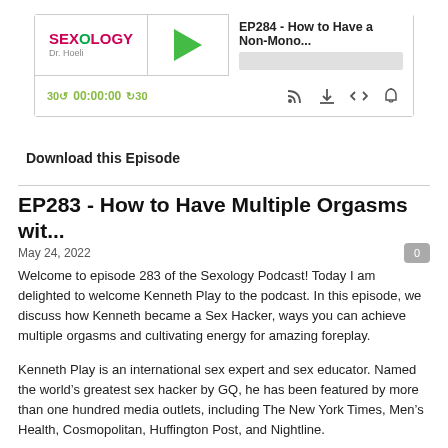[Figure (screenshot): Podcast player widget with Sexology Dr. Hoeli logo, green play button, episode title 'EP284 - How to Have a Non-Mono...', progress bar, and controls showing 30s back, 00:00:00, 30s forward, RSS, download, embed, and subscribe icons]
Download this Episode
EP283 - How to Have Multiple Orgasms wit...
May 24, 2022
Welcome to episode 283 of the Sexology Podcast! Today I am delighted to welcome Kenneth Play to the podcast. In this episode, we discuss how Kenneth became a Sex Hacker, ways you can achieve multiple orgasms and cultivating energy for amazing foreplay.
Kenneth Play is an international sex expert and sex educator. Named the world’s greatest sex hacker by GQ, he has been featured by more than one hundred media outlets, including The New York Times, Men’s Health, Cosmopolitan, Huffington Post, and Nightline.
Kenneth has been a guest lecturer on female sexual pleasure at New York